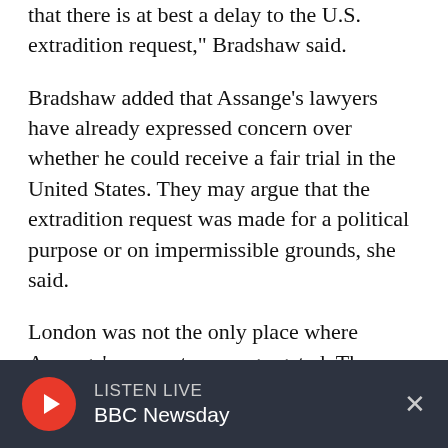that there is at best a delay to the U.S. extradition request," Bradshaw said.
Bradshaw added that Assange's lawyers have already expressed concern over whether he could receive a fair trial in the United States. They may argue that the extradition request was made for a political purpose or on impermissible grounds, she said.
London was not the only place where Assange's supporters congregated. They also gathered in front of the U.S. Embassy in Berlin. There, one devotee read a statement written by former
LISTEN LIVE BBC Newsday